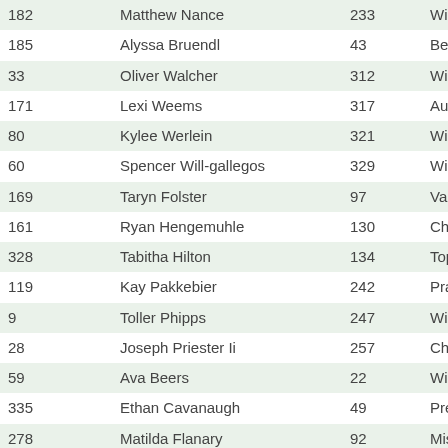| 182 | Matthew Nance | 233 | Wichita KS |
| 185 | Alyssa Bruendl | 43 | Benton KS |
| 33 | Oliver Walcher | 312 | Wichita KS |
| 171 | Lexi Weems | 317 | Augusta KS |
| 80 | Kylee Werlein | 321 | Wichita KS |
| 60 | Spencer Will-gallegos | 329 | Wichita KS |
| 169 | Taryn Folster | 97 | Valley Cent |
| 161 | Ryan Hengemuhle | 130 | Chapman K |
| 328 | Tabitha Hilton | 134 | Topeka KS |
| 119 | Kay Pakkebier | 242 | Prairie View |
| 9 | Toller Phipps | 247 | Wichita KS |
| 28 | Joseph Priester Ii | 257 | Chapman K |
| 59 | Ava Beers | 22 | Wichita KS |
| 335 | Ethan Cavanaugh | 49 | Pretty Prair |
| 278 | Matilda Flanary | 92 | Mission KS |
| 92 | Gracie Dawes | 358 | Hesston KS |
| 177 | Jadyn Nixon | 361 | Rose Hill K |
| 193 | Jack Groceman | 117 | Wichita KS |